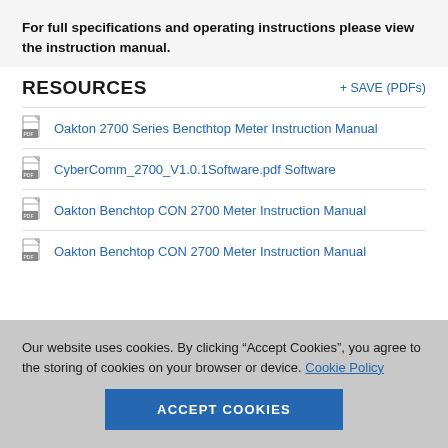For full specifications and operating instructions please view the instruction manual.
RESOURCES
+ SAVE (PDFs)
Oakton 2700 Series Bencthtop Meter Instruction Manual
CyberComm_2700_V1.0.1Software.pdf Software
Oakton Benchtop CON 2700 Meter Instruction Manual
Oakton Benchtop CON 2700 Meter Instruction Manual
Our website uses cookies. By clicking “Accept Cookies”, you agree to the storing of cookies on your browser or device. Cookie Policy
ACCEPT COOKIES